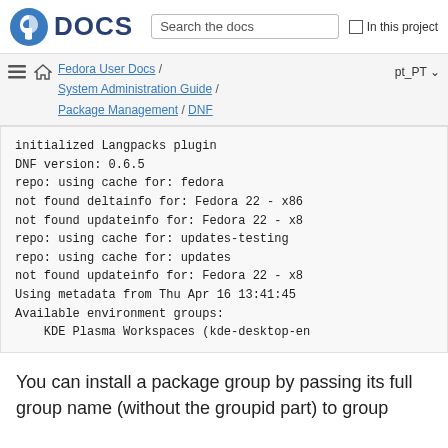DOCS | Search the docs | In this project
Fedora User Docs / System Administration Guide / Package Management / DNF | pt_PT
initialized Langpacks plugin
DNF version: 0.6.5
repo: using cache for: fedora
not found deltainfo for: Fedora 22 - x86
not found updateinfo for: Fedora 22 - x8
repo: using cache for: updates-testing
repo: using cache for: updates
not found updateinfo for: Fedora 22 - x8
Using metadata from Thu Apr 16 13:41:45
Available environment groups:
    KDE Plasma Workspaces (kde-desktop-en
You can install a package group by passing its full group name (without the groupid part) to group